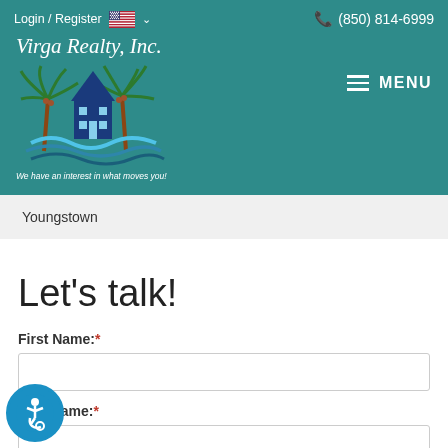Login / Register  🇺🇸  ∨    (850) 814-6999
[Figure (logo): Virga Realty, Inc. logo with palm trees and house over water waves, with tagline 'We have an interest in what moves you!']
MENU
Youngstown
Let's talk!
First Name:*
Last Name:*
Email Address:*